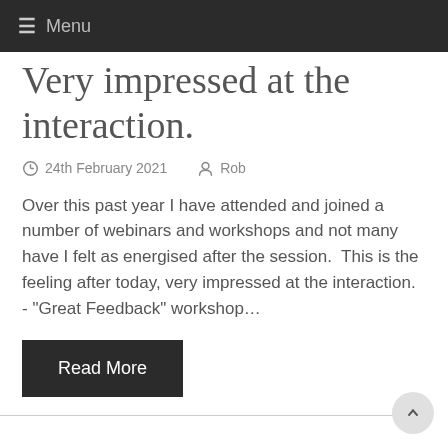≡ Menu
Very impressed at the interaction.
24th February 2021   Rob
Over this past year I have attended and joined a number of webinars and workshops and not many have I felt as energised after the session.  This is the feeling after today, very impressed at the interaction. - "Great Feedback" workshop…
Read More